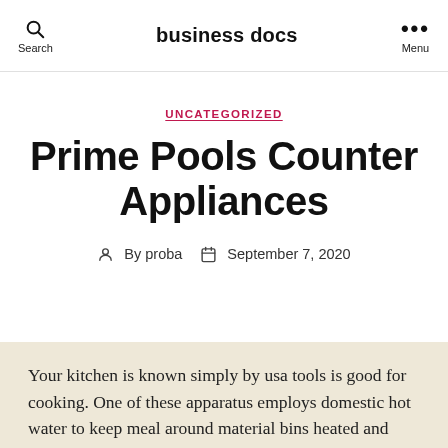business docs
UNCATEGORIZED
Prime Pools Counter Appliances
By proba   September 7, 2020
Your kitchen is known simply by usa tools is good for cooking. One of these apparatus employs domestic hot water to keep meal around material bins heated and with